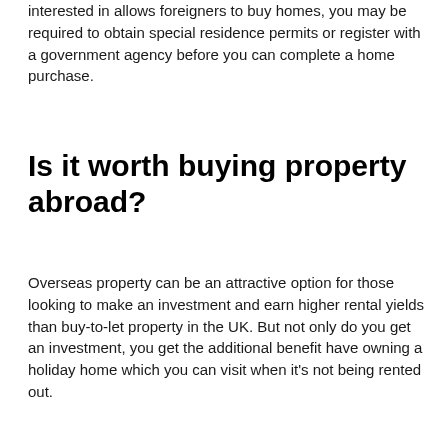interested in allows foreigners to buy homes, you may be required to obtain special residence permits or register with a government agency before you can complete a home purchase.
Is it worth buying property abroad?
Overseas property can be an attractive option for those looking to make an investment and earn higher rental yields than buy-to-let property in the UK. But not only do you get an investment, you get the additional benefit have owning a holiday home which you can visit when it’s not being rented out.